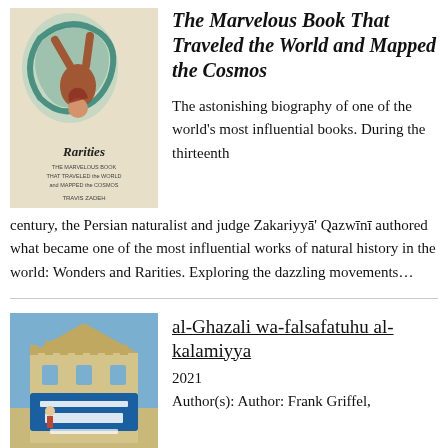[Figure (illustration): Book cover for 'Rarities: The Marvelous Book That Traveled the World and Mapped the Cosmos' by Travis Zadeh. Cover shows a colorful illustrated figure with flowing orange and teal garments on a light background with text overlay.]
The Marvelous Book That Traveled the World and Mapped the Cosmos
The astonishing biography of one of the world's most influential books. During the thirteenth century, the Persian naturalist and judge Zakariyyā' Qazwīnī authored what became one of the most influential works of natural history in the world: Wonders and Rarities. Exploring the dazzling movements…
[Figure (photo): Book cover for 'al-Ghazali wa-falsafatuhu al-kalamiyya' (2021). Cover shows a blue and beige illustrated building/cityscape with Arabic text.]
al-Ghazali wa-falsafatuhu al-kalamiyya
2021
Author(s): Author: Frank Griffel,